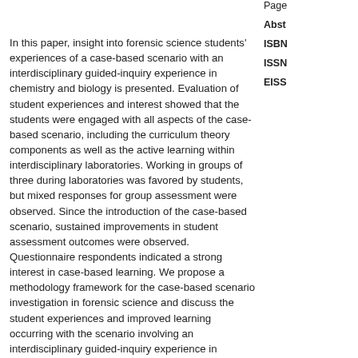Page
Abst
ISBN
ISSN
EISS
In this paper, insight into forensic science students' experiences of a case-based scenario with an interdisciplinary guided-inquiry experience in chemistry and biology is presented. Evaluation of student experiences and interest showed that the students were engaged with all aspects of the case-based scenario, including the curriculum theory components as well as the active learning within interdisciplinary laboratories. Working in groups of three during laboratories was favored by students, but mixed responses for group assessment were observed. Since the introduction of the case-based scenario, sustained improvements in student assessment outcomes were observed. Questionnaire respondents indicated a strong interest in case-based learning. We propose a methodology framework for the case-based scenario investigation in forensic science and discuss the student experiences and improved learning occurring with the scenario involving an interdisciplinary guided-inquiry experience in chemistry and biology. This work suggests that an interdisciplinary guided-inquiry learning approach, ideally contextualized within a case-based scenario, is adaptable to other science discipline combinations.